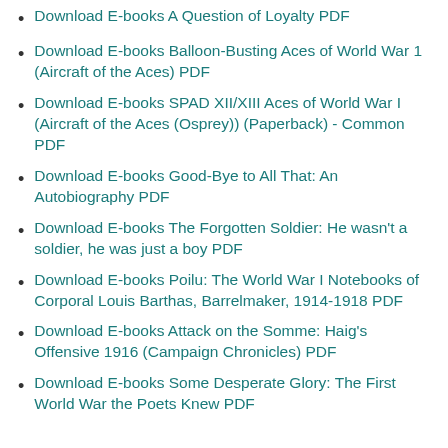Download E-books A Question of Loyalty PDF
Download E-books Balloon-Busting Aces of World War 1 (Aircraft of the Aces) PDF
Download E-books SPAD XII/XIII Aces of World War I (Aircraft of the Aces (Osprey)) (Paperback) - Common PDF
Download E-books Good-Bye to All That: An Autobiography PDF
Download E-books The Forgotten Soldier: He wasn't a soldier, he was just a boy PDF
Download E-books Poilu: The World War I Notebooks of Corporal Louis Barthas, Barrelmaker, 1914-1918 PDF
Download E-books Attack on the Somme: Haig's Offensive 1916 (Campaign Chronicles) PDF
Download E-books Some Desperate Glory: The First World War the Poets Knew PDF